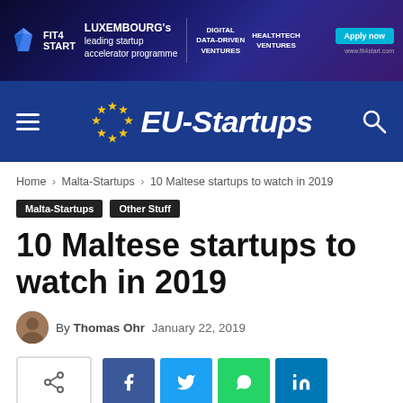[Figure (screenshot): FIT4START Luxembourg banner ad with dark blue starry background showing digital-driven ventures and healthtech ventures with Apply Now button and fit4start.com URL]
[Figure (logo): EU-Startups navigation bar with blue background, hamburger menu icon on left, EU-Startups logo with gold stars in center, search icon on right]
Home › Malta-Startups › 10 Maltese startups to watch in 2019
Malta-Startups   Other Stuff
10 Maltese startups to watch in 2019
By Thomas Ohr  January 22, 2019
[Figure (screenshot): Social share buttons row: native share button, Facebook, Twitter, WhatsApp, LinkedIn]